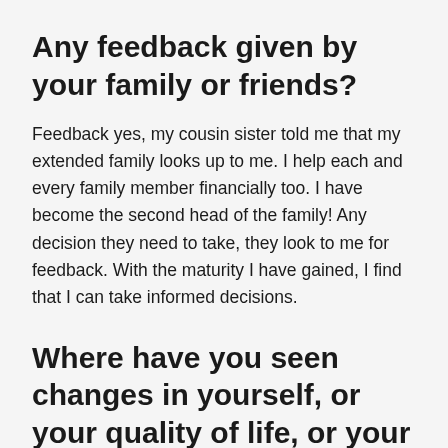Any feedback given by your family or friends?
Feedback yes, my cousin sister told me that my extended family looks up to me. I help each and every family member financially too. I have become the second head of the family! Any decision they need to take, they look to me for feedback. With the maturity I have gained, I find that I can take informed decisions.
Where have you seen changes in yourself, or your quality of life, or your skills?
When I first joined Chillibreeze, I was very shy, I used to be very quiet. I hardly passed comments or thought out of the box. I thought that is who I am. But with